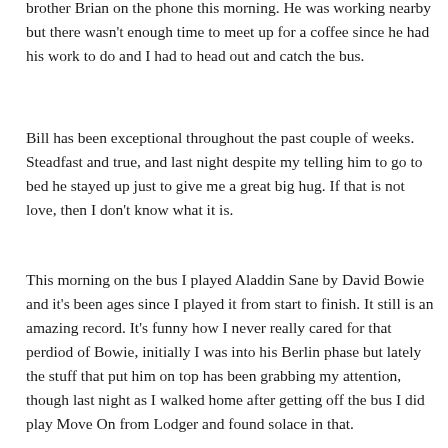brother Brian on the phone this morning. He was working nearby but there wasn't enough time to meet up for a coffee since he had his work to do and I had to head out and catch the bus.
Bill has been exceptional throughout the past couple of weeks. Steadfast and true, and last night despite my telling him to go to bed he stayed up just to give me a great big hug. If that is not love, then I don't know what it is.
This morning on the bus I played Aladdin Sane by David Bowie and it's been ages since I played it from start to finish. It still is an amazing record. It's funny how I never really cared for that perdiod of Bowie, initially I was into his Berlin phase but lately the stuff that put him on top has been grabbing my attention, though last night as I walked home after getting off the bus I did play Move On from Lodger and found solace in that.